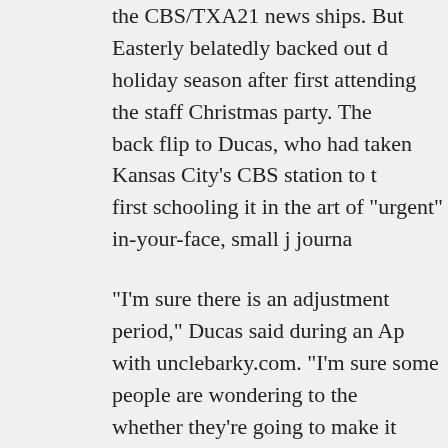the CBS/TXA21 news ships. But Easterly belatedly backed out d holiday season after first attending the staff Christmas party. The back flip to Ducas, who had taken Kansas City's CBS station to t first schooling it in the art of "urgent" in-your-face, small j journa
"I'm sure there is an adjustment period," Ducas said during an Ap with unclebarky.com. "I'm sure some people are wondering to the whether they're going to make it under this new format, whether subscribe to it in the first place."
Instead the troops finally prevailed while their volcanic general w stockade. But one wonders what would have happened had Dien the job in the first place.
He arrived at CBS11 as assistant news director in June 2006, mo months before Ducas got the call. Diener previously had been ne KTVK-TV in Phoenix, which is hardly Podunk. Instead it's the cou largest TV market, ranking well ahead of No. 31 Kansas City. KT owned by Dallas-based Belo Corp., which runs WFAA-TV (Chann